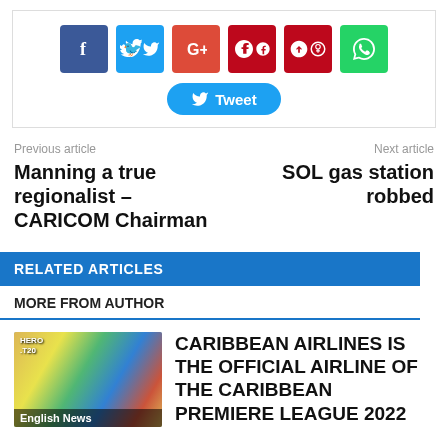[Figure (other): Social share buttons: Facebook, Twitter, Google+, Pinterest, WhatsApp, and a Tweet button]
Previous article
Manning a true regionalist – CARICOM Chairman
Next article
SOL gas station robbed
RELATED ARTICLES
MORE FROM AUTHOR
[Figure (photo): Cricket players with colorful celebration background, labeled English News]
CARIBBEAN AIRLINES IS THE OFFICIAL AIRLINE OF THE CARIBBEAN PREMIERE LEAGUE 2022